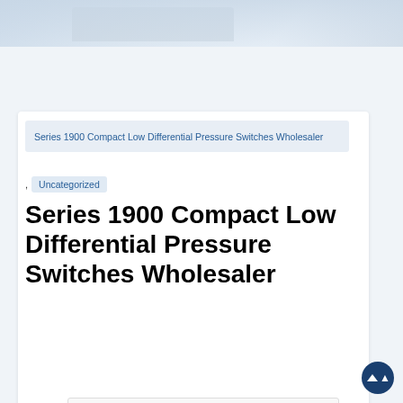[Figure (photo): Top banner area with light blue/grey background resembling a laptop or device screenshot]
Series 1900 Compact Low Differential Pressure Switches Wholesaler
, Uncategorized
Series 1900 Compact Low Differential Pressure Switches Wholesaler
[Figure (photo): Partial product image of a compact pressure switch device, gold/beige colored box with label and circular port visible]